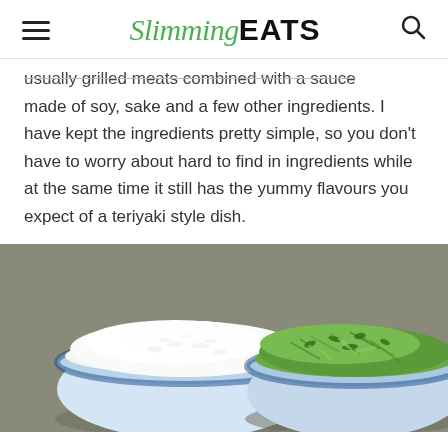Slimming EATS
usually grilled meats combined with a sauce made of soy, sake and a few other ingredients. I have kept the ingredients pretty simple, so you don't have to worry about hard to find in ingredients while at the same time it still has the yummy flavours you expect of a teriyaki style dish.
[Figure (photo): Two blue-and-white bowls on a wooden surface: left bowl contains white rice, right bowl contains green stir-fried vegetables with herbs.]